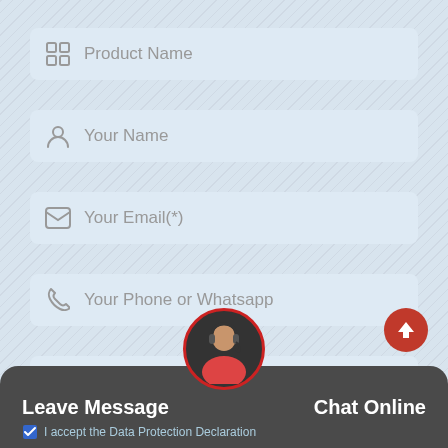[Figure (infographic): Contact form UI with fields for Product Name, Your Name, Your Email(*), Your Phone or Whatsapp, and Equipment name, model, related issues, with a bottom bar showing Leave Message and Chat Online options, an agent avatar, and an up arrow button.]
Product Name
Your Name
Your Email(*)
Your Phone or Whatsapp
Equipment name, model, related issues
Leave Message
Chat Online
I accept the Data Protection Declaration